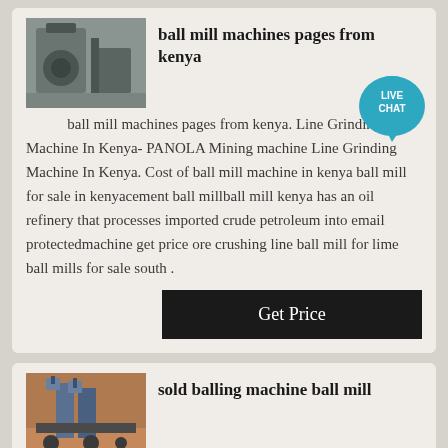[Figure (photo): Thumbnail of a ball mill machine, grey industrial equipment]
ball mill machines pages from kenya
ball mill machines pages from kenya. Line Grinding Machine In Kenya- PANOLA Mining machine Line Grinding Machine In Kenya. Cost of ball mill machine in kenya ball mill for sale in kenyacement ball millball mill kenya has an oil refinery that processes imported crude petroleum into email protectedmachine get price ore crushing line ball mill for lime ball mills for sale south .
[Figure (photo): Thumbnail of a large industrial balling machine or cement plant with blue silos]
sold balling machine ball mill
Chocolate Ball Mill Machine Wholesale Various High Quality Chocolate Ball Mill Machine Products from Global Chocolate Ball chocolate balling mill machine